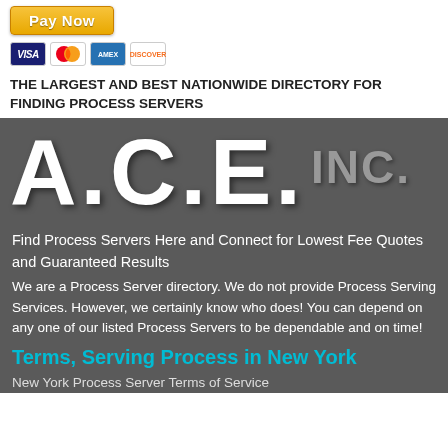[Figure (other): PayPal Pay Now button with Visa, Mastercard, American Express, and Discover card icons below]
THE LARGEST AND BEST NATIONWIDE DIRECTORY FOR FINDING PROCESS SERVERS
[Figure (logo): A.C.E. INC. logo in large white bold letters on dark gray background]
Find Process Servers Here and Connect for Lowest Fee Quotes and Guaranteed Results
We are a Process Server directory. We do not provide Process Serving Services. However, we certainly know who does! You can depend on any one of our listed Process Servers to be dependable and on time!
Terms, Serving Process in New York
New York Process Server Terms of Service